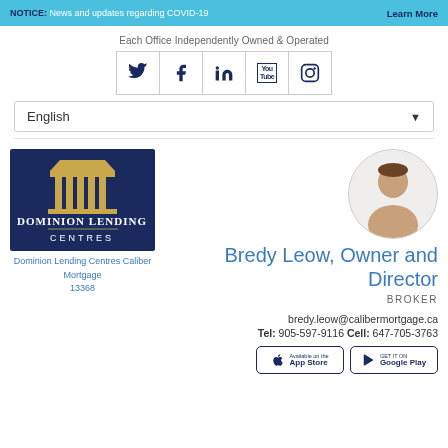NOTICE: News and updates regarding COVID-19  Learn More
Each Office Independently Owned & Operated
[Figure (infographic): Social media icons: Twitter, Facebook, LinkedIn, YouTube, Instagram]
English
[Figure (logo): Dominion Lending Centres logo — blue background with gold pillars and white text]
Dominion Lending Centres Caliber Mortgage
13368
[Figure (photo): Circular profile photo of Bredy Leow]
Bredy Leow, Owner and Director
BROKER
bredy.leow@calibermortgage.ca
Tel: 905-597-9116 Cell: 647-705-3763
[Figure (infographic): App Store and Google Play download badges]